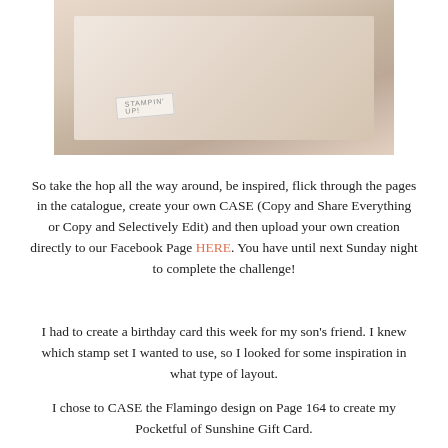[Figure (photo): Photo of a handmade card or envelope with a Stampin' Up label and twine, on a light beige background]
So take the hop all the way around, be inspired, flick through the pages in the catalogue, create your own CASE (Copy and Share Everything or Copy and Selectively Edit) and then upload your own creation directly to our Facebook Page HERE. You have until next Sunday night to complete the challenge!
I had to create a birthday card this week for my son's friend. I knew which stamp set I wanted to use, so I looked for some inspiration in what type of layout.
I chose to CASE the Flamingo design on Page 164 to create my Pocketful of Sunshine Gift Card.